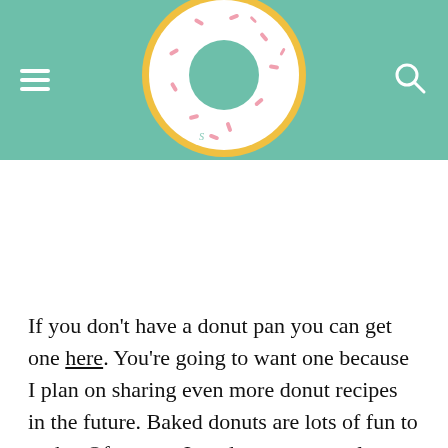[Figure (logo): Website header with teal/mint green background, hamburger menu icon on the left, a donut logo in the center (white donut with pink sprinkles and gold/yellow outline, teal hole), and a search icon on the right]
If you don't have a donut pan you can get one here. You're going to want one because I plan on sharing even more donut recipes in the future. Baked donuts are lots of fun to make. Of course, I made an eggnog glaze to dunk these in..which is the funnest part. 🍩